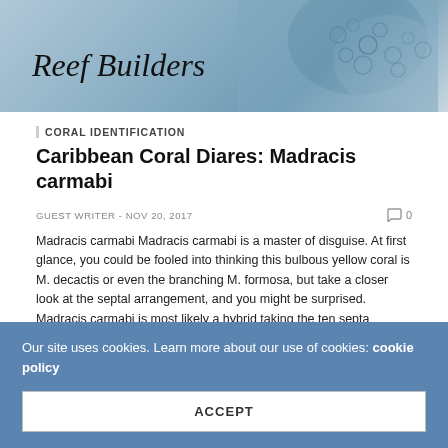[Figure (photo): Reef Builders website header banner with logo text and coral texture background image]
CORAL IDENTIFICATION
Caribbean Coral Diares: Madracis carmabi
GUEST WRITER - NOV 20, 2017   0
Madracis carmabi Madracis carmabi is a master of disguise. At first glance, you could be fooled into thinking this bulbous yellow coral is M. decactis or even the branching M. formosa, but take a closer look at the septal arrangement, and you might be surprised. Madracis carmabi is most likely a hybrid taking the ten septa arrangement…
[Figure (photo): Partial second article header image visible at bottom]
Our site uses cookies. Learn more about our use of cookies: cookie policy
ACCEPT